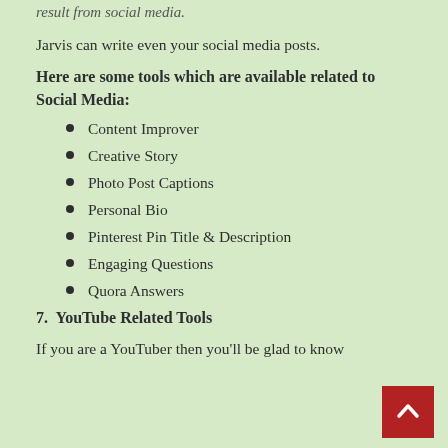result from social media.
Jarvis can write even your social media posts.
Here are some tools which are available related to Social Media:
Content Improver
Creative Story
Photo Post Captions
Personal Bio
Pinterest Pin Title & Description
Engaging Questions
Quora Answers
7.  YouTube Related Tools
If you are a YouTuber then you'll be glad to know